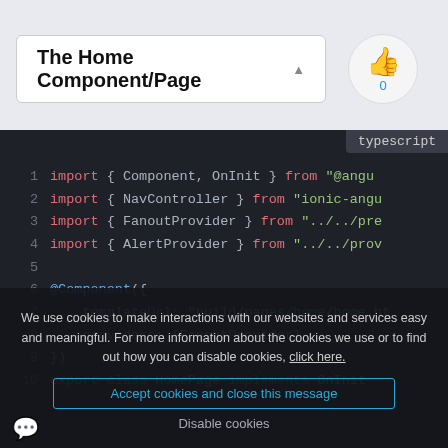The Home Component/Page
[Figure (screenshot): TypeScript code editor showing import statements and @Component decorator for an Angular/Ionic HomePage class]
We use cookies to make interactions with our websites and services easy and meaningful. For more information about the cookies we use or to find out how you can disable cookies, click here.
Accept cookies and close this message
Disable cookies